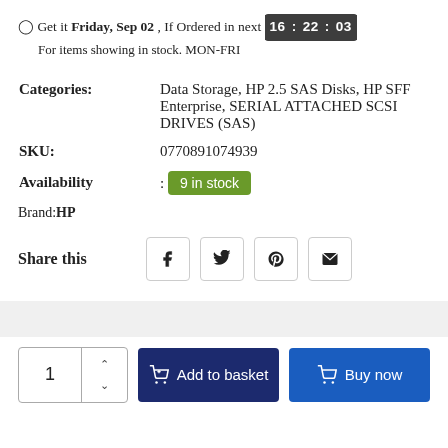⊙ Get it Friday, Sep 02 , If Ordered in next 16 : 22 : 03
For items showing in stock. MON-FRI
| Field | Value |
| --- | --- |
| Categories: | Data Storage, HP 2.5 SAS Disks, HP SFF Enterprise, SERIAL ATTACHED SCSI DRIVES (SAS) |
| SKU: | 0770891074939 |
| Availability | : 9 in stock |
Brand:HP
Share this
[Figure (other): Social share buttons: Facebook, Twitter, Pinterest, Email]
1  Add to basket  Buy now